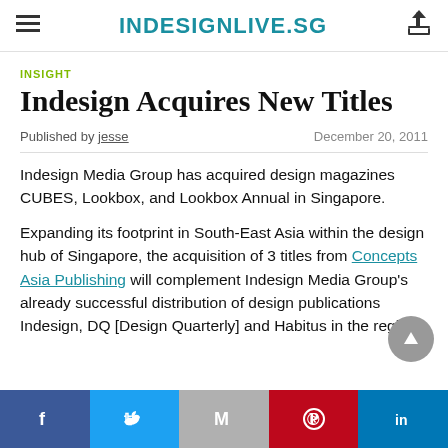INDESIGNLIVE.SG
INSIGHT
Indesign Acquires New Titles
Published by jesse    December 20, 2011
Indesign Media Group has acquired design magazines CUBES, Lookbox, and Lookbox Annual in Singapore.
Expanding its footprint in South-East Asia within the design hub of Singapore, the acquisition of 3 titles from Concepts Asia Publishing will complement Indesign Media Group's already successful distribution of design publications Indesign, DQ [Design Quarterly] and Habitus in the region.
Facebook Twitter Gmail Pinterest LinkedIn